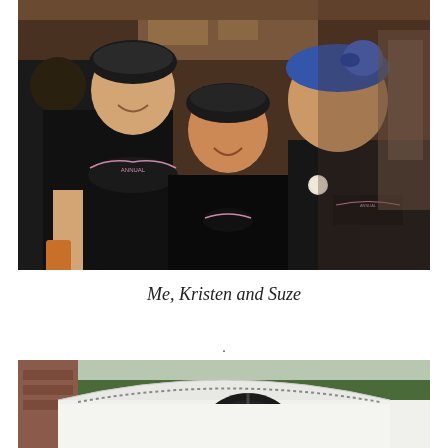[Figure (photo): Three women wearing black tank tops and bandanas posing together indoors at what appears to be a biker event. The woman on the left has a black bandana and holds a drink, the middle woman wears a black bandana, and the woman on the right wears a blue bandana. All wear shirts with motorcycle-related logos.]
Me, Kristen and Suze
.
[Figure (photo): Partial view of what appears to be a large motorcycle wheel or arch structure outdoors, with trees visible in the background.]